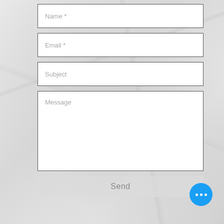Name *
Email *
Subject
Message
Send